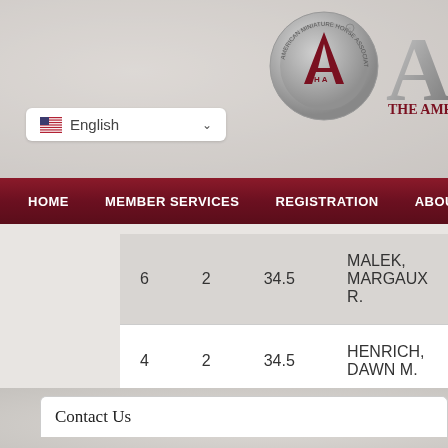[Figure (logo): American Miniature Horse Association (AMHA) circular medallion logo and large stylized 'A' letter with 'THE AMERIC' text beside it]
English
HOME  MEMBER SERVICES  REGISTRATION  ABOUT AMHA
| 6 | 2 | 34.5 | MALEK, MARGAUX R. |
| 4 | 2 | 34.5 | HENRICH, DAWN M. |
Contact Us